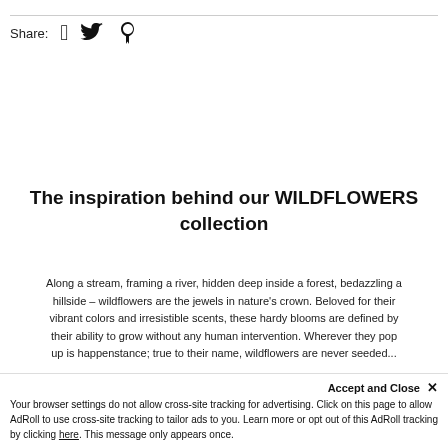Share:
The inspiration behind our WILDFLOWERS collection
Along a stream, framing a river, hidden deep inside a forest, bedazzling a hillside – wildflowers are the jewels in nature's crown. Beloved for their vibrant colors and irresistible scents, these hardy blooms are defined by their ability to grow without any human intervention. Wherever they pop up is happenstance; true to their name, wildflowers are never seeded...
Accept and Close ✕ Your browser settings do not allow cross-site tracking for advertising. Click on this page to allow AdRoll to use cross-site tracking to tailor ads to you. Learn more or opt out of this AdRoll tracking by clicking here. This message only appears once.